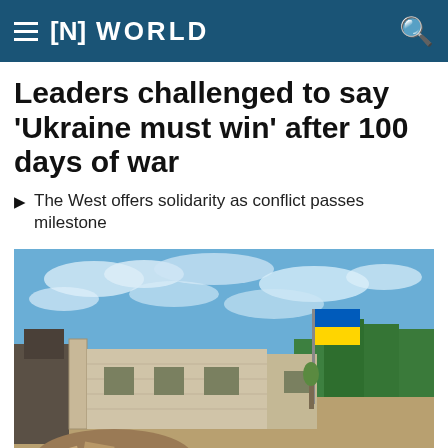[N] WORLD
Leaders challenged to say 'Ukraine must win' after 100 days of war
The West offers solidarity as conflict passes milestone
[Figure (photo): Ruins of a destroyed building with empty window frames and rubble in the foreground, a Ukrainian flag (blue and yellow) flying on a pole to the right, with trees and blue sky with clouds in the background.]